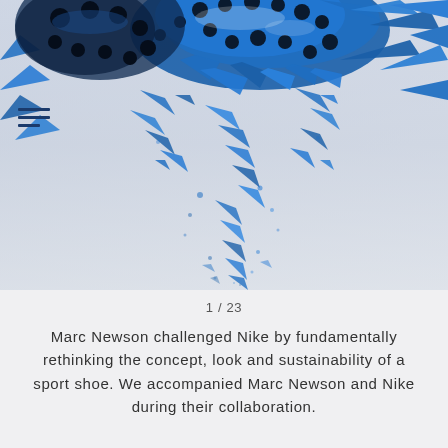[Figure (photo): A dramatic blue and white artistic photograph of what appears to be a shoe or sculptural object exploding or shattering into blue fragments and water-like splashes against a light grey gradient background. The image is vibrant with deep blue hues and dynamic motion.]
1 / 23
Marc Newson challenged Nike by fundamentally rethinking the concept, look and sustainability of a sport shoe. We accompanied Marc Newson and Nike during their collaboration.